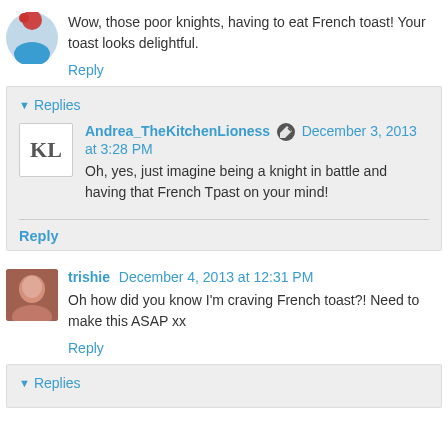Wow, those poor knights, having to eat French toast! Your toast looks delightful.
Reply
Replies
Andrea_TheKitchenLioness December 3, 2013 at 3:28 PM
Oh, yes, just imagine being a knight in battle and having that French Tpast on your mind!
Reply
trishie December 4, 2013 at 12:31 PM
Oh how did you know I'm craving French toast?! Need to make this ASAP xx
Reply
Replies